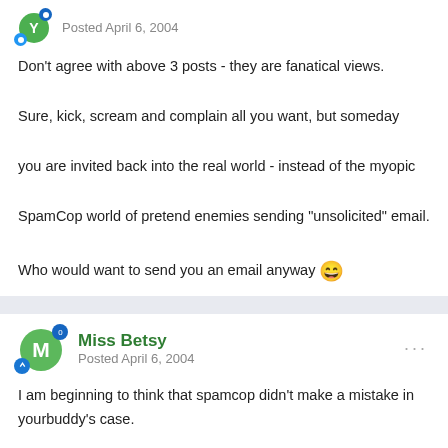Posted April 6, 2004
Don't agree with above 3 posts - they are fanatical views.

Sure, kick, scream and complain all you want, but someday you are invited back into the real world - instead of the myopic SpamCop world of pretend enemies sending "unsolicited" email.

Who would want to send you an email anyway 😄
Miss Betsy
Posted April 6, 2004
I am beginning to think that spamcop didn't make a mistake in yourbuddy's case.

There are lots of merchants who would like to send me advertisements. I have an extremely good credit rating and disposable income.